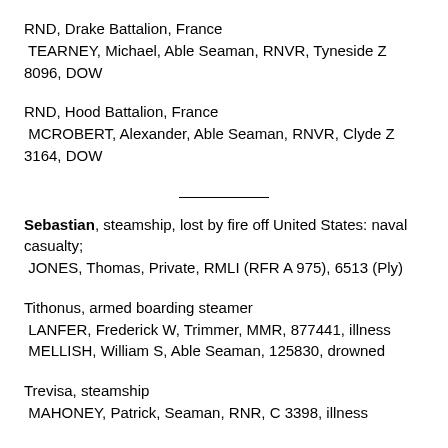RND, Drake Battalion, France TEARNEY, Michael, Able Seaman, RNVR, Tyneside Z 8096, DOW
RND, Hood Battalion, France MCROBERT, Alexander, Able Seaman, RNVR, Clyde Z 3164, DOW
Sebastian, steamship, lost by fire off United States: naval casualty; JONES, Thomas, Private, RMLI (RFR A 975), 6513 (Ply)
Tithonus, armed boarding steamer LANFER, Frederick W, Trimmer, MMR, 877441, illness MELLISH, William S, Able Seaman, 125830, drowned
Trevisa, steamship MAHONEY, Patrick, Seaman, RNR, C 3398, illness